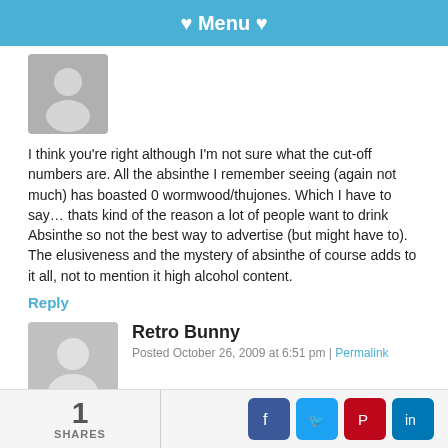♥ Menu ♥
[Figure (illustration): Gray avatar silhouette placeholder image]
I think you're right although I'm not sure what the cut-off numbers are. All the absinthe I remember seeing (again not much) has boasted 0 wormwood/thujones. Which I have to say… thats kind of the reason a lot of people want to drink Absinthe so not the best way to advertise (but might have to). The elusiveness and the mystery of absinthe of course adds to it all, not to mention it high alcohol content.
Reply
Retro Bunny
Posted October 26, 2009 at 6:51 pm | Permalink
Absinthe is all about the romantic history behind it. I love the idea
1 SHARES